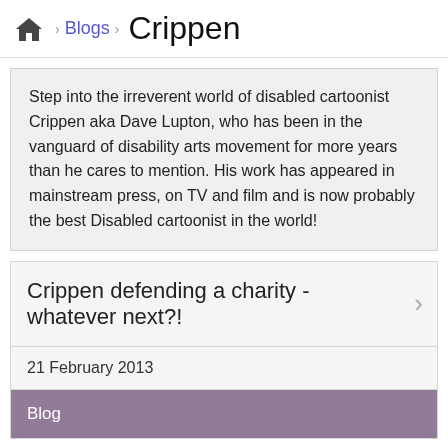Blogs › Crippen
Step into the irreverent world of disabled cartoonist Crippen aka Dave Lupton, who has been in the vanguard of disability arts movement for more years than he cares to mention. His work has appeared in mainstream press, on TV and film and is now probably the best Disabled cartoonist in the world!
Crippen defending a charity - whatever next?!
21 February 2013
Blog